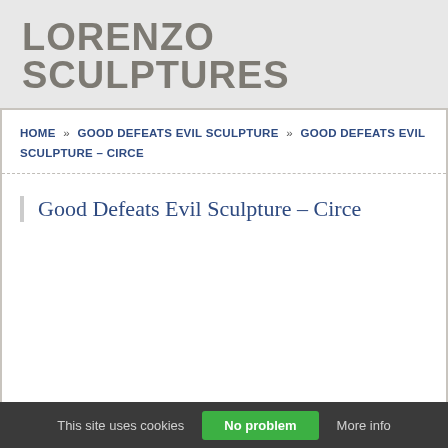LORENZO SCULPTURES
HOME » GOOD DEFEATS EVIL SCULPTURE » GOOD DEFEATS EVIL SCULPTURE – CIRCE
Good Defeats Evil Sculpture – Circe
This site uses cookies   No problem   More info